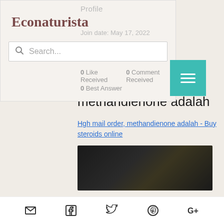Profile
Econaturista
Join date: May 17, 2022
Search...
0 Like Received   0 Comment Received
0 Best Answer
Hgh mail order, methandienone adalah
Hgh mail order, methandienone adalah - Buy steroids online
[Figure (photo): Dark blurred product image]
Email | Facebook | Twitter | Pinterest | Google+